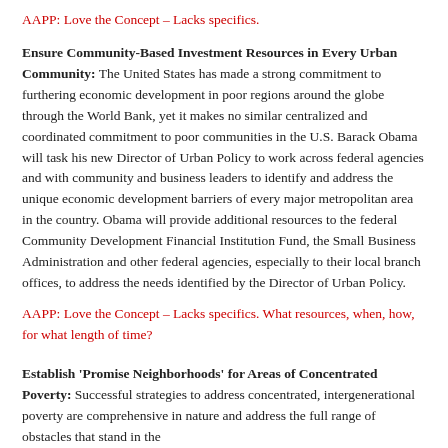AAPP: Love the Concept – Lacks specifics.
Ensure Community-Based Investment Resources in Every Urban Community: The United States has made a strong commitment to furthering economic development in poor regions around the globe through the World Bank, yet it makes no similar centralized and coordinated commitment to poor communities in the U.S. Barack Obama will task his new Director of Urban Policy to work across federal agencies and with community and business leaders to identify and address the unique economic development barriers of every major metropolitan area in the country. Obama will provide additional resources to the federal Community Development Financial Institution Fund, the Small Business Administration and other federal agencies, especially to their local branch offices, to address the needs identified by the Director of Urban Policy.
AAPP: Love the Concept – Lacks specifics. What resources, when, how, for what length of time?
Establish 'Promise Neighborhoods' for Areas of Concentrated Poverty: Successful strategies to address concentrated, intergenerational poverty are comprehensive in nature and address the full range of obstacles that stand in the